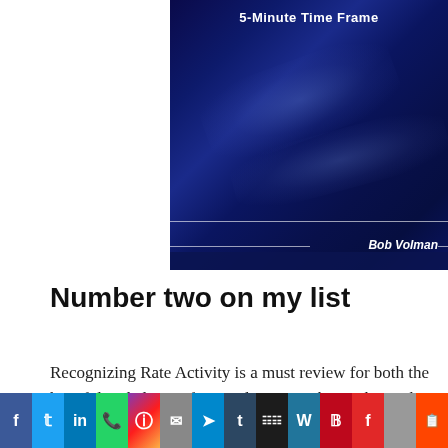[Figure (illustration): Book cover for a finance/trading book showing '5-Minute Time Frame' title with author Bob Volman on a dark blue abstract background with light streaks]
Number two on my list
Recognizing Rate Activity is a must review for both the hopeful and also professional investor that seeks to obtain a deeper understanding of what is
Social share bar: Facebook, Twitter, LinkedIn, WhatsApp, Instagram, Email, Telegram, Tumblr, Myspace, WordPress, Pinterest, Flipboard, Mix, Reddit